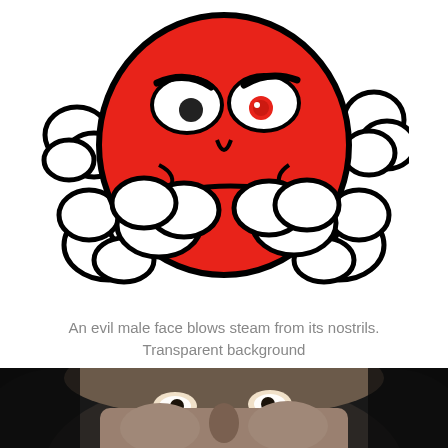[Figure (illustration): Cartoon illustration of an evil red male face blowing steam/smoke from its nostrils. The face is red and round with angry eyes and a grimacing mouth. White cloud-like steam puffs emanate from the nostrils on both sides, with black outlines on white background.]
An evil male face blows steam from its nostrils. Transparent background
[Figure (photo): Close-up dark photo of a bald man's face with wide, surprised eyes looking upward. The image is dark/moody with low lighting.]